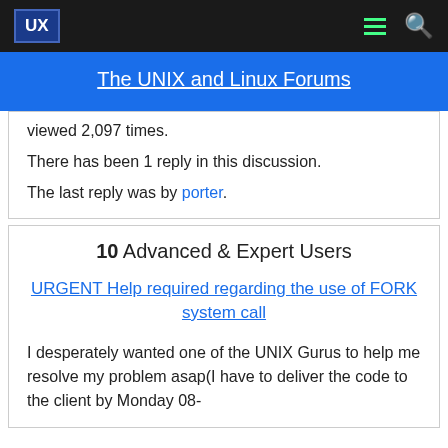UX | The UNIX and Linux Forums
viewed 2,097 times.
There has been 1 reply in this discussion.
The last reply was by porter.
10  Advanced & Expert Users
URGENT Help required regarding the use of FORK system call
I desperately wanted one of the UNIX Gurus to help me resolve my problem asap(I have to deliver the code to the client by Monday 08-